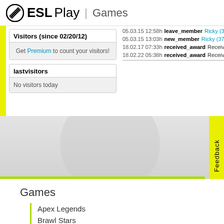ESL Play | Games
05.03.15 12:58h leave_member Ricky (371...
05.03.15 13:03h new_member Ricky (3710...
18.02.17 07:33h received_award Received...
18.02.22 05:38h received_award Received...
Visitors (since 02/20/12)
Get Premium to count your visitors!
lastvisitors
No visitors today
Games
Apex Legends
Brawl Stars
BlazBlue: CTB
Call of Duty
Clash of Clans